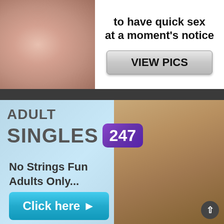[Figure (photo): Top advertisement banner with photo on left side showing skin/body close-up in warm tones]
to have quick sex at a moment's notice
VIEW PICS
[Figure (photo): Bottom advertisement banner for Adult Singles 247 with couple photo on right, light blue background]
ADULT SINGLES 247
No Strings Fun Adults Only...
Click here ▶